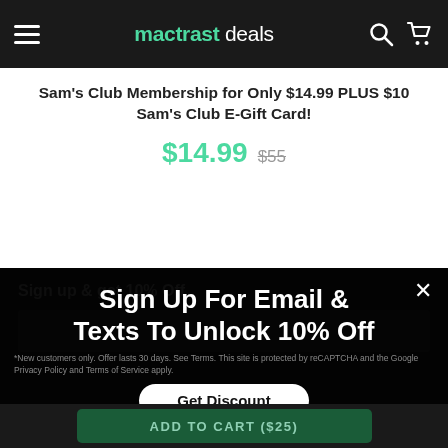mactrast deals
Sam's Club Membership for Only $14.99 PLUS $10 Sam's Club E-Gift Card!
$14.99  $55
Sign up & get 10% Off
Sign Up For Email & Texts To Unlock 10% Off
*New customers only. Offer lasts 30 days. See Terms. This site is protected by reCAPTCHA and the Google Privacy Policy and Terms of Service apply.
Get Discount
ADD TO CART ($25)